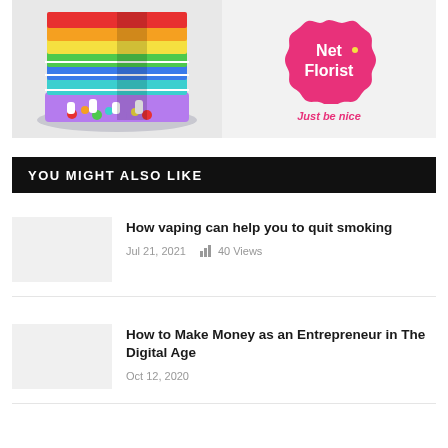[Figure (photo): Advertisement banner for Net Florist featuring a rainbow layered cake with candy toppings on the left, and the Net Florist pink flower-shaped logo with 'Just be nice' tagline on the right]
YOU MIGHT ALSO LIKE
How vaping can help you to quit smoking
Jul 21, 2021   40 Views
How to Make Money as an Entrepreneur in The Digital Age
Oct 12, 2020